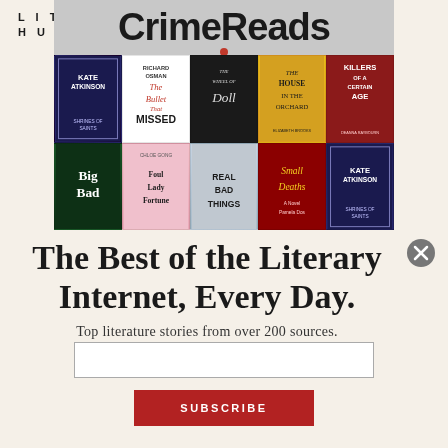LIT
HUB
[Figure (photo): Book collage showing CrimeReads banner at top with a red dot, and a grid of book covers below including Kate Atkinson Shrines of Saints, Richard Osman The Bullet That Missed, The Wheel of Doll, The House in the Orchard, Killers of a Certain Age by Deanna Raybourn, Big Bad, Chloe Gong Foul Lady Fortune, Real Bad Things, Small Deaths by Pamela Dos, Kate Atkinson Shrines of Saints]
The Best of the Literary Internet, Every Day.
Top literature stories from over 200 sources.